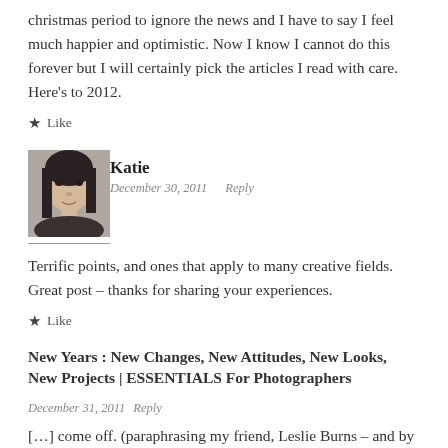christmas period to ignore the news and I have to say I feel much happier and optimistic. Now I know I cannot do this forever but I will certainly pick the articles I read with care. Here’s to 2012.
★ Like
[Figure (photo): Profile photo of commenter Katie - woman with dark hair]
Katie
December 30, 2011   Reply
Terrific points, and ones that apply to many creative fields. Great post – thanks for sharing your experiences.
★ Like
New Years : New Changes, New Attitudes, New Looks, New Projects | ESSENTIALS For Photographers
December 31, 2011  Reply
[...] come off. (paraphrasing my friend, Leslie Burns – and by the way read her post. Read Julie Cannings post while you are at [...]